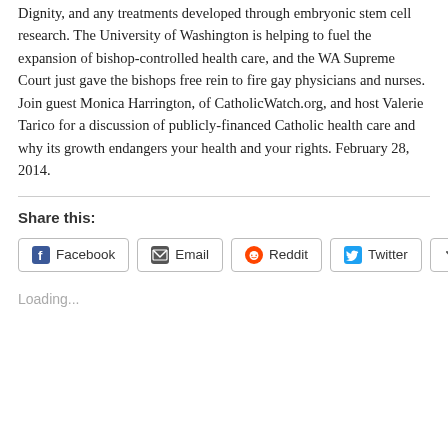Dignity, and any treatments developed through embryonic stem cell research. The University of Washington is helping to fuel the expansion of bishop-controlled health care, and the WA Supreme Court just gave the bishops free rein to fire gay physicians and nurses. Join guest Monica Harrington, of CatholicWatch.org, and host Valerie Tarico for a discussion of publicly-financed Catholic health care and why its growth endangers your health and your rights. February 28, 2014.
Share this:
[Figure (other): Social share buttons: Facebook, Email, Reddit, Twitter, More]
Loading...